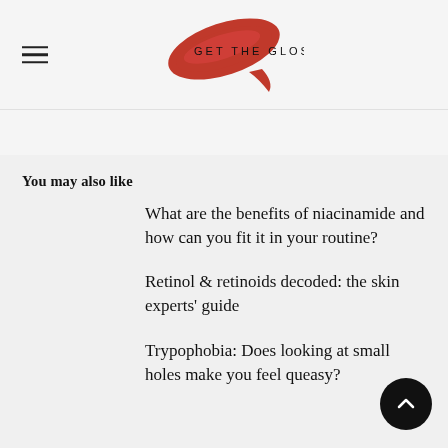GET THE GLOSS
You may also like
What are the benefits of niacinamide and how can you fit it in your routine?
Retinol & retinoids decoded: the skin experts' guide
Trypophobia: Does looking at small holes make you feel queasy?